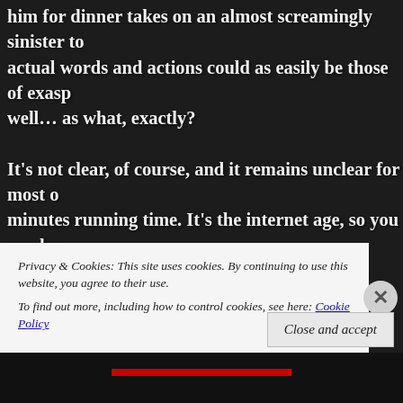him for dinner takes on an almost screamingly sinister to actual words and actions could as easily be those of exasp well... as what, exactly?
It's not clear, of course, and it remains unclear for most of minutes running time. It's the internet age, so you can loo but I'm not going to spoil it here, and my firm advice is tha either, if by the end of this you decide to give the film a sp should). One of the reasons I think this movie deserves fa love than it gets is precisely the way in which it spins out t what, exactly, the hell is going on in this family, well past t
Privacy & Cookies: This site uses cookies. By continuing to use this website, you agree to their use.
To find out more, including how to control cookies, see here: Cookie Policy
Close and accept